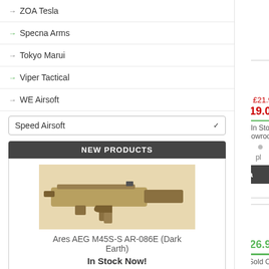ZOA Tesla
Specna Arms
Tokyo Marui
Viper Tactical
WE Airsoft
Speed Airsoft (dropdown)
NEW PRODUCTS
[Figure (photo): Ares AEG M45S-S AR-086E airsoft rifle in dark earth/tan color]
Ares AEG M45S-S AR-086E (Dark Earth)
In Stock Now!
£209.95
Checkout all our latest products here
Speed Airsoft Sling Swivel Stud / Bipod Adaptor for KeyMod (Silver)
was: £21.9
ON SALE: £19.0
In Stock
In Our Showroom
[Figure (photo): Silver metal sling swivel stud / bipod adaptor for KeyMod rail]
Add To Basket
Speed Airsoft Curved Front Stop for KeyMod (Black)
£26.9
Sold Out
[Figure (photo): Black curved front stop accessory for KeyMod rail with white button]
Add To Basket